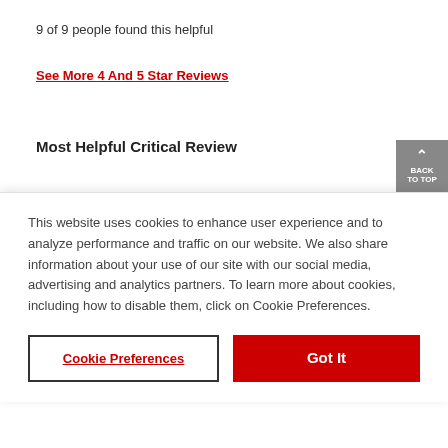9 of 9 people found this helpful
See More 4 And 5 Star Reviews
Most Helpful Critical Review
This website uses cookies to enhance user experience and to analyze performance and traffic on our website. We also share information about your use of our site with our social media, advertising and analytics partners. To learn more about cookies, including how to disable them, click on Cookie Preferences.
Cookie Preferences
Got It